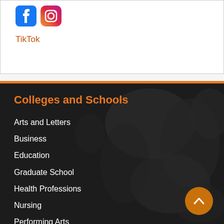[Figure (logo): Facebook and Instagram social media icons in blue and orange/red gradient]
TikTok
Colleges and Schools
Arts and Letters
Business
Education
Graduate School
Health Professions
Nursing
Performing Arts
Pharmacy
Rehabilitation and Communication Sciences